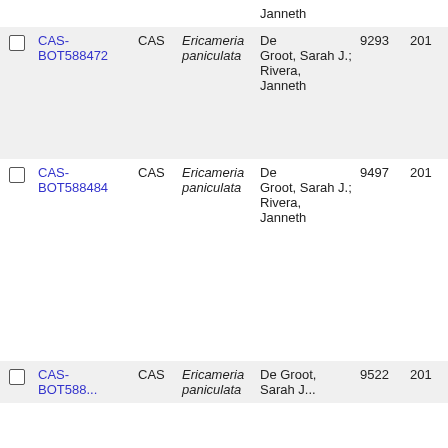|  | ID | Inst | Species | Collectors | Number | Year |
| --- | --- | --- | --- | --- | --- | --- |
|  | CAS-BOT588472 | CAS | Ericameria paniculata | De Groot, Sarah J.; Rivera, Janneth | 9293 | 201 |
|  | CAS-BOT588484 | CAS | Ericameria paniculata | De Groot, Sarah J.; Rivera, Janneth | 9497 | 201 |
|  | CAS-BOT588... | CAS | Ericameria paniculata | De Groot, Sarah J... | 9522 | 201 |